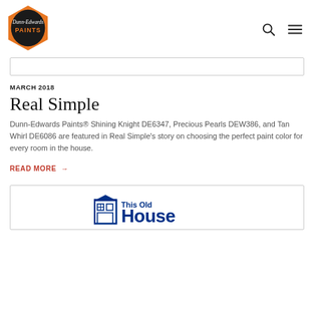[Figure (logo): Dunn-Edwards Paints logo — orange hexagon with black center and white script text]
Dunn-Edwards Paints website header with search and menu icons
[Figure (screenshot): Search input bar, empty]
MARCH 2018
Real Simple
Dunn-Edwards Paints® Shining Knight DE6347, Precious Pearls DEW386, and Tan Whirl DE6086 are featured in Real Simple's story on choosing the perfect paint color for every room in the house.
READ MORE →
[Figure (logo): This Old House logo — blue block letters with house icon]